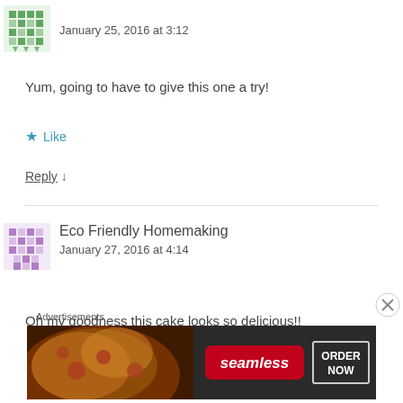January 25, 2016 at 3:12
Yum, going to have to give this one a try!
★ Like
Reply ↓
Eco Friendly Homemaking
January 27, 2016 at 4:14
Oh my goodness this cake looks so delicious!!
Advertisements
[Figure (other): Seamless pizza ordering advertisement banner with pizza image on the left, Seamless red logo badge, and ORDER NOW button on the right]